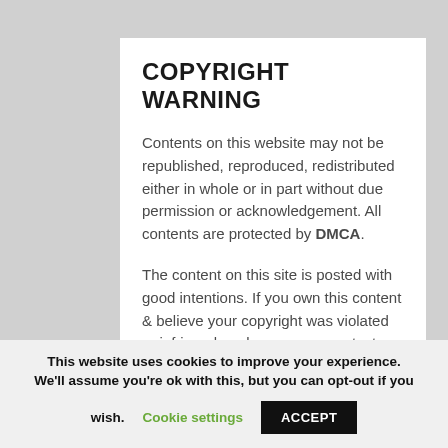COPYRIGHT WARNING
Contents on this website may not be republished, reproduced, redistributed either in whole or in part without due permission or acknowledgement. All contents are protected by DMCA.
The content on this site is posted with good intentions. If you own this content & believe your copyright was violated or infringed, make sure you contact us at [myscholarshipbaze[at]gmail.com] to file a complaint and actions will be taken immediately.
This website uses cookies to improve your experience. We'll assume you're ok with this, but you can opt-out if you wish. Cookie settings ACCEPT